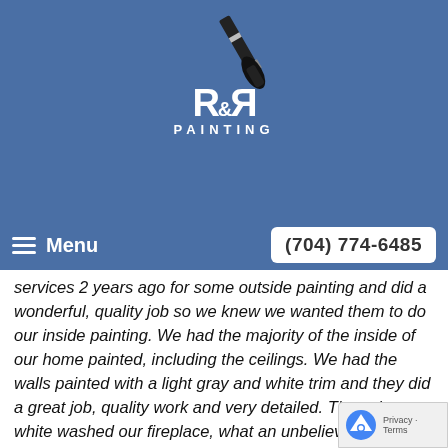[Figure (logo): R&R Painting logo with paintbrush icon on blue background, showing stylized R&R letters with 'PAINTING' text below]
Menu
(704) 774-6485
services 2 years ago for some outside painting and did a wonderful, quality job so we knew we wanted them to do our inside painting. We had the majority of the inside of our home painted, including the ceilings. We had the walls painted with a light gray and white trim and they did a great job, quality work and very detailed. They also white washed our fireplace, what an unbelievable difference and they did a fabulous job! All workers were friendly, courteous and showed great respect of our home and furniture as they painted each room. We are very pleased with the work they provided, very detailed and looks wonderful. Randy